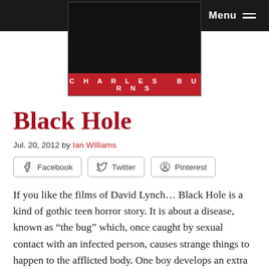Menu
[Figure (photo): Book cover of 'Black Hole' by Charles Burns — black background with a red bar at the bottom reading 'CHARLES BURNS' in white spaced lettering]
Black Hole
Jul. 20, 2012 by Ian Williams
Facebook  Twitter  Pinterest
If you like the films of David Lynch… Black Hole is a kind of gothic teen horror story. It is about a disease, known as “the bug” which, once caught by sexual contact with an infected person, causes strange things to happen to the afflicted body. One boy develops an extra mouth on his chest, complete with